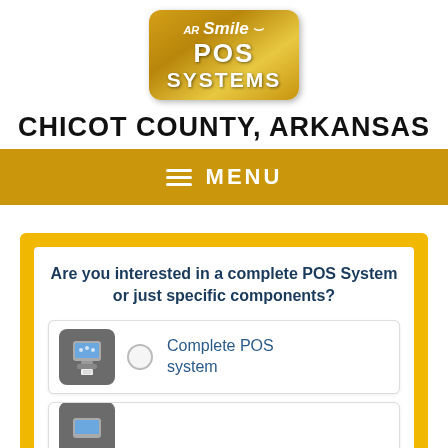[Figure (logo): AR Smile POS Systems logo — golden rounded rectangle badge with white text]
CHICOT COUNTY, ARKANSAS
MENU
Are you interested in a complete POS System or just specific components?
Complete POS system
(partial second option visible)